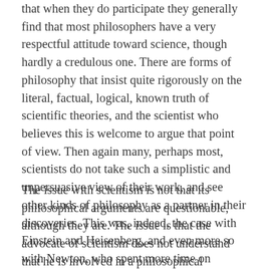that when they do participate they generally find that most philosophers have a very respectful attitude toward science, though hardly a credulous one. There are forms of philosophy that insist quite rigorously on the literal, factual, logical, known truth of scientific theories, and the scientist who believes this is welcome to argue that point of view. Then again many, perhaps most, scientists do not take such a simplistic and unpersuasive view of their work, and see other kinds of philosophy as a partner in their discoveries. This was, indeed, the case with Einstein and Heisenberg, and even more so with Newton, who spent more time on theology than he ever did on physics.
The issue with scientism is not that its philosophical arguments are questionable, although they are. The issue is that the advocate of scientism does not understand that he is involved in a philosophical discussion at all. Indeed he resents the existence of this discussion, feels